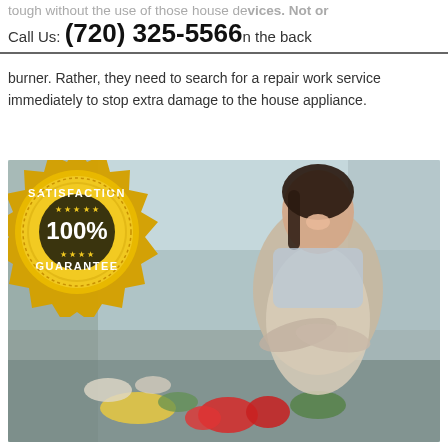tough without the use of those house devices. Not or
Call Us: (720) 325-5566 ...on the back burner. Rather, they need to search for a repair work service immediately to stop extra damage to the house appliance.
[Figure (photo): Woman in apron standing in kitchen with arms crossed, smiling, with a Satisfaction 100% Guarantee gold badge overlaid on the left side, fresh vegetables and food on the kitchen counter in the foreground.]